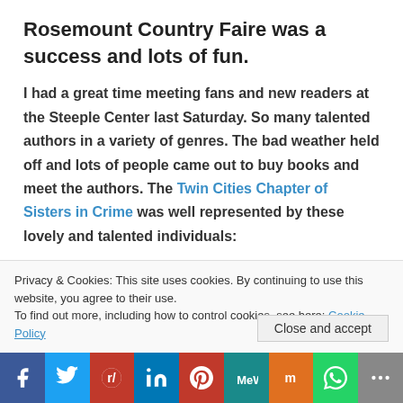Rosemount Country Faire was a success and lots of fun.
I had a great time meeting fans and new readers at the Steeple Center last Saturday. So many talented authors in a variety of genres. The bad weather held off and lots of people came out to buy books and meet the authors. The Twin Cities Chapter of Sisters in Crime was well represented by these lovely and talented individuals:
[Figure (photo): Image placeholder area (photo content not visible)]
Privacy & Cookies: This site uses cookies. By continuing to use this website, you agree to their use.
To find out more, including how to control cookies, see here: Cookie Policy
Facebook | Twitter | Reddit | LinkedIn | Pinterest | MeWe | Mix | WhatsApp | More